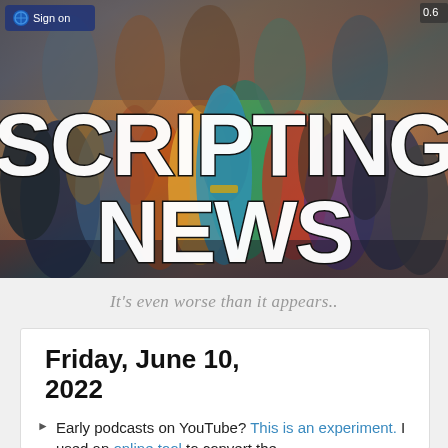[Figure (photo): Scripting News website banner header featuring the Sgt. Pepper's Lonely Hearts Club Band album cover collage of people in colorful costumes, with a 'Sign on' button at top-left and version number at top-right. Large bold white text reads 'SCRIPTING NEWS' overlaid on the photo.]
SCRIPTING NEWS
It's even worse than it appears..
Friday, June 10, 2022
Early podcasts on YouTube? This is an experiment. I used an online tool to convert the